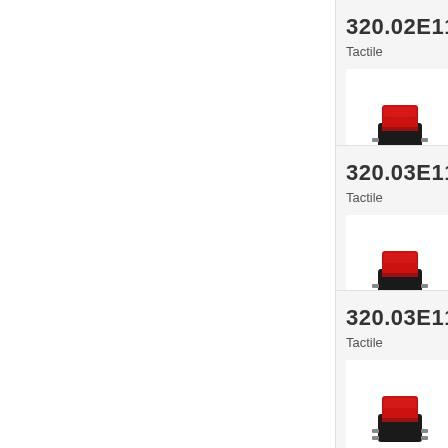320.02E11TA
Tactile
[Figure (photo): Tactile switch with red button on black body, 320.02E11TA]
320.03E11.09
Tactile
[Figure (photo): Tactile switch with red button on black body, 320.03E11.09]
320.03E11BL
Tactile
[Figure (photo): Tactile switch with red button on black body, 320.03E11BL]